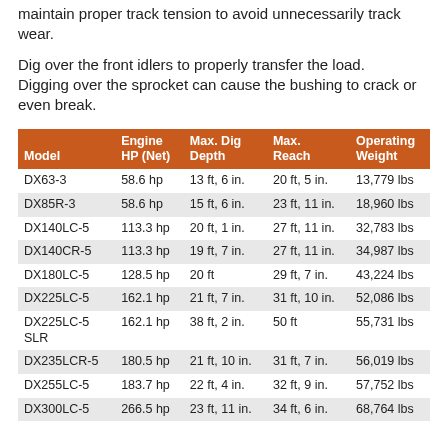maintain proper track tension to avoid unnecessarily track wear.
Dig over the front idlers to properly transfer the load. Digging over the sprocket can cause the bushing to crack or even break.
| Model | Engine HP (Net) | Max. Dig Depth | Max. Reach | Operating Weight |
| --- | --- | --- | --- | --- |
| DX63-3 | 58.6 hp | 13 ft, 6 in. | 20 ft, 5 in. | 13,779 lbs |
| DX85R-3 | 58.6 hp | 15 ft, 6 in. | 23 ft, 11 in. | 18,960 lbs |
| DX140LC-5 | 113.3 hp | 20 ft, 1 in. | 27 ft, 11 in. | 32,783 lbs |
| DX140CR-5 | 113.3 hp | 19 ft, 7 in. | 27 ft, 11 in. | 34,987 lbs |
| DX180LC-5 | 128.5 hp | 20 ft | 29 ft, 7 in. | 43,224 lbs |
| DX225LC-5 | 162.1 hp | 21 ft, 7 in. | 31 ft, 10 in. | 52,086 lbs |
| DX225LC-5 SLR | 162.1 hp | 38 ft, 2 in. | 50 ft | 55,731 lbs |
| DX235LCR-5 | 180.5 hp | 21 ft, 10 in. | 31 ft, 7 in. | 56,019 lbs |
| DX255LC-5 | 183.7 hp | 22 ft, 4 in. | 32 ft, 9 in. | 57,752 lbs |
| DX300LC-5 | 266.5 hp | 23 ft, 11 in. | 34 ft, 6 in. | 68,764 lbs |